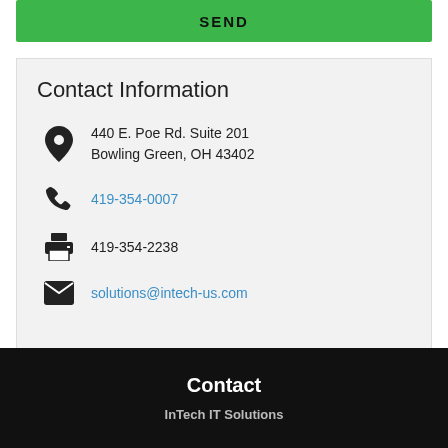[Figure (screenshot): Green SEND button at top of page]
Contact Information
440 E. Poe Rd. Suite 201
Bowling Green, OH 43402
419-354-0007
419-354-2238
solutions@intech-us.com
Contact
InTech IT Solutions